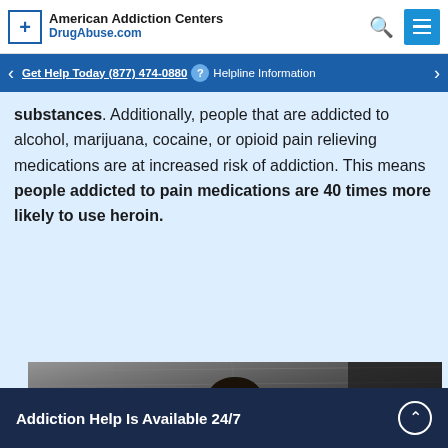American Addiction Centers DrugAbuse.com
Get Help Today (877) 474-0880 ? Helpline Information
substances. Additionally, people that are addicted to alcohol, marijuana, cocaine, or opioid pain relieving medications are at increased risk of addiction. This means people addicted to pain medications are 40 times more likely to use heroin.
[Figure (photo): Black and white photograph of a person with head down, appearing distressed, against a wooden background]
Addiction Help Is Available 24/7